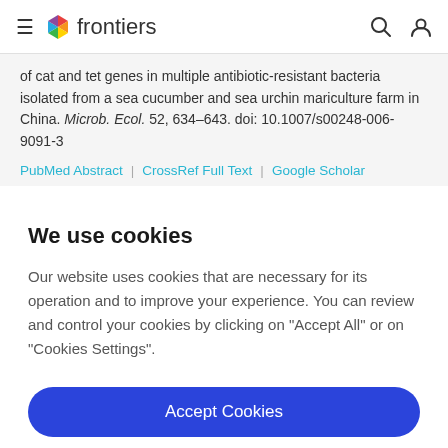frontiers
of cat and tet genes in multiple antibiotic-resistant bacteria isolated from a sea cucumber and sea urchin mariculture farm in China. Microb. Ecol. 52, 634–643. doi: 10.1007/s00248-006-9091-3
PubMed Abstract | CrossRef Full Text | Google Scholar
We use cookies
Our website uses cookies that are necessary for its operation and to improve your experience. You can review and control your cookies by clicking on "Accept All" or on "Cookies Settings".
Accept Cookies
Cookies Settings